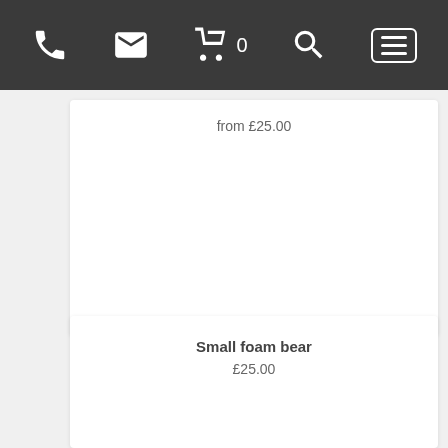Navigation bar with phone, email, cart (0), search, and menu icons
from £25.00
Small foam bear
£25.00